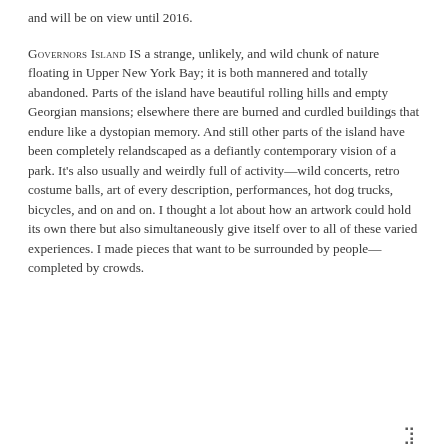and will be on view until 2016.
GOVERNORS ISLAND IS a strange, unlikely, and wild chunk of nature floating in Upper New York Bay; it is both mannered and totally abandoned. Parts of the island have beautiful rolling hills and empty Georgian mansions; elsewhere there are burned and curdled buildings that endure like a dystopian memory. And still other parts of the island have been completely relandscaped as a defiantly contemporary vision of a park. It’s also usually and weirdly full of activity—wild concerts, retro costume balls, art of every description, performances, hot dog trucks, bicycles, and on and on. I thought a lot about how an artwork could hold its own there but also simultaneously give itself over to all of these varied experiences. I made pieces that want to be surrounded by people—completed by crowds.